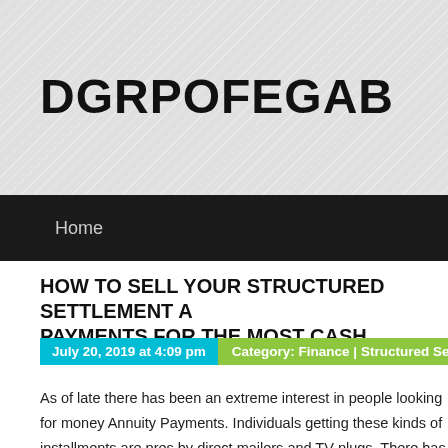DGRPOFEGAB
Home
HOW TO SELL YOUR STRUCTURED SETTLEMENT AND ANNUITY PAYMENTS FOR THE MOST CASH
July 20, 2019 at 4:09 pm  Category:  Finance  |  Structured Settlements
As of late there has been an extreme interest in people looking for money Annuity Payments. Individuals getting these kinds of installments are pressed by direct mailers and TV plugs. There has additionally been a noteworthy through the web looking for organizations to offer their installments to. The current financial atmosphere. So the inquiry that I see more often than Structured Settlement and Annuity Payments"? This article will help you i